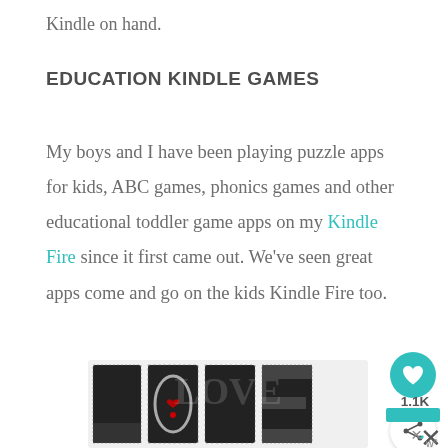Kindle on hand.
EDUCATION KINDLE GAMES
My boys and I have been playing puzzle apps for kids, ABC games, phonics games and other educational toddler game apps on my Kindle Fire since it first came out. We've seen great apps come and go on the kids Kindle Fire too.
[Figure (illustration): Decorative LOVE text illustration with intricate black and white patterns, with a small red heart detail]